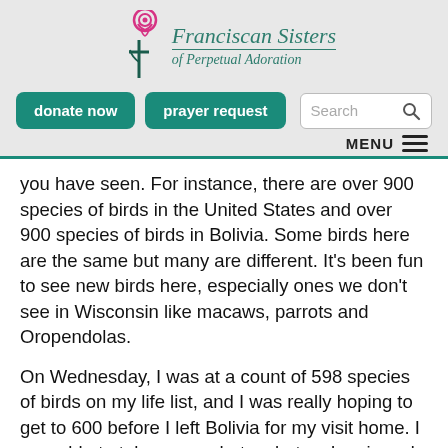[Figure (logo): Franciscan Sisters of Perpetual Adoration logo with a rose and cross icon in pink and teal, and italic teal text reading 'Franciscan Sisters of Perpetual Adoration']
[Figure (screenshot): Website navigation buttons: 'donate now' and 'prayer request' in teal rounded buttons, and a Search input field]
you have seen. For instance, there are over 900 species of birds in the United States and over 900 species of birds in Bolivia. Some birds here are the same but many are different. It's been fun to see new birds here, especially ones we don't see in Wisconsin like macaws, parrots and Oropendolas.
On Wednesday, I was at a count of 598 species of birds on my life list, and I was really hoping to get to 600 before I left Bolivia for my visit home. I was able to take many photos, but as I reviewed them later that day, there was only one new species. I was ok with it and thought that maybe I would find